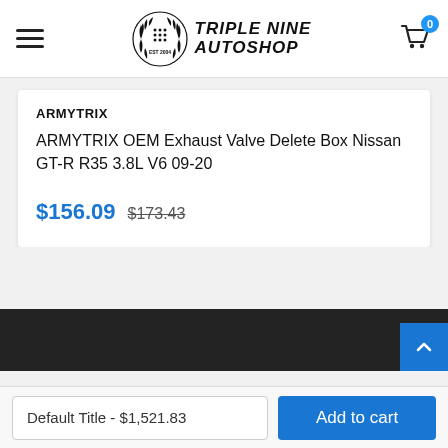Triple Nine Autoshop — EST 2004
ARMYTRIX
ARMYTRIX OEM Exhaust Valve Delete Box Nissan GT-R R35 3.8L V6 09-20
$156.09  $173.43
Default Title - $1,521.83
Add to cart